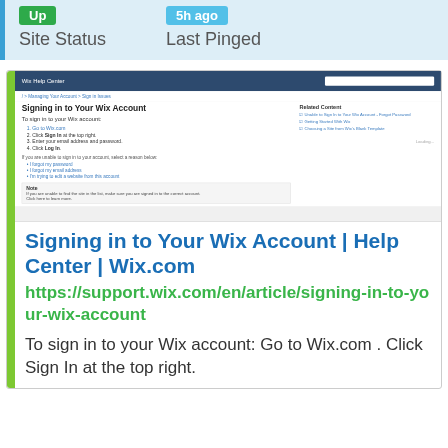Up
Site Status
5h ago
Last Pinged
[Figure (screenshot): Screenshot of Wix Help Center page showing 'Signing in to Your Wix Account' article with navigation header, breadcrumb, article content with numbered steps, related content sidebar, and a note box.]
Signing in to Your Wix Account | Help Center | Wix.com
https://support.wix.com/en/article/signing-in-to-your-wix-account
To sign in to your Wix account: Go to Wix.com . Click Sign In at the top right.